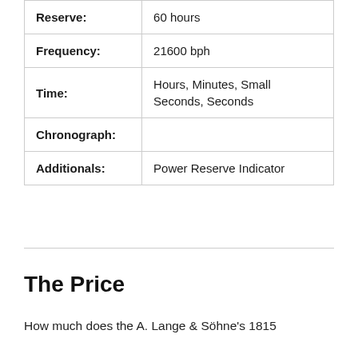|  |  |
| --- | --- |
| Reserve: | 60 hours |
| Frequency: | 21600 bph |
| Time: | Hours, Minutes, Small Seconds, Seconds |
| Chronograph: |  |
| Additionals: | Power Reserve Indicator |
The Price
How much does the A. Lange & Söhne's 1815